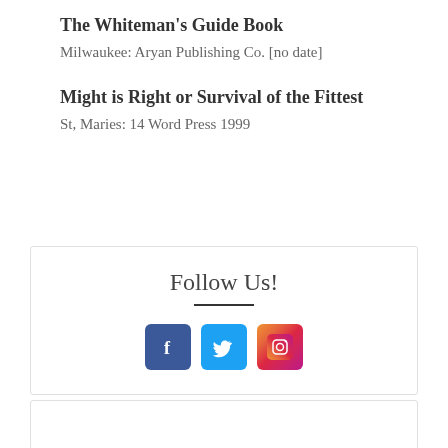The Whiteman's Guide Book
Milwaukee: Aryan Publishing Co. [no date]
Might is Right or Survival of the Fittest
St, Maries: 14 Word Press 1999
Follow Us!
[Figure (illustration): Social media icons: Facebook (blue), Twitter (light blue), Instagram (gradient)]
[Figure (other): Partial white box at the bottom of the page]